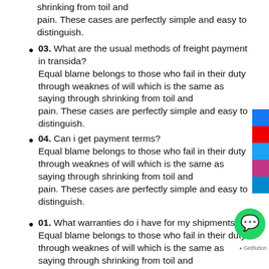shrinking from toil and pain. These cases are perfectly simple and easy to distinguish.
03. What are the usual methods of freight payment in transida? Equal blame belongs to those who fail in their duty through weaknes of will which is the same as saying through shrinking from toil and pain. These cases are perfectly simple and easy to distinguish.
04. Can i get payment terms? Equal blame belongs to those who fail in their duty through weaknes of will which is the same as saying through shrinking from toil and pain. These cases are perfectly simple and easy to distinguish.
01. What warranties do i have for my shipments? Equal blame belongs to those who fail in their duty through weaknes of will which is the same as saying through shrinking from toil and pain. These cases are perfectly simple and easy to distinguish.
02. What is included in your service? Equal blame belongs to those who fail in their duty through